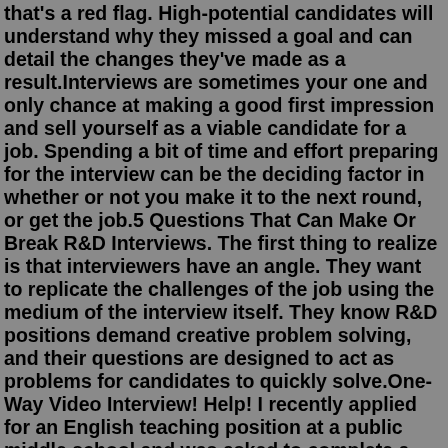that's a red flag. High-potential candidates will understand why they missed a goal and can detail the changes they've made as a result.Interviews are sometimes your one and only chance at making a good first impression and sell yourself as a viable candidate for a job. Spending a bit of time and effort preparing for the interview can be the deciding factor in whether or not you make it to the next round, or get the job.5 Questions That Can Make Or Break R&D Interviews. The first thing to realize is that interviewers have an angle. They want to replicate the challenges of the job using the medium of the interview itself. They know R&D positions demand creative problem solving, and their questions are designed to act as problems for candidates to quickly solve.One-Way Video Interview! Help! I recently applied for an English teaching position at a public middle school and was asked to complete a one-way video interview answering pre-recorded questions using the program Spark Hire. FSM-IMX577 FSM-IMX290 FSM-IMX327 FSM- IMX334 FSM-IMX335